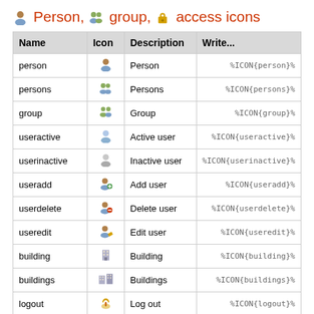Person, group, access icons
| Name | Icon | Description | Write... |
| --- | --- | --- | --- |
| person | [person icon] | Person | %ICON{person}% |
| persons | [persons icon] | Persons | %ICON{persons}% |
| group | [group icon] | Group | %ICON{group}% |
| useractive | [useractive icon] | Active user | %ICON{useractive}% |
| userinactive | [userinactive icon] | Inactive user | %ICON{userinactive}% |
| useradd | [useradd icon] | Add user | %ICON{useradd}% |
| userdelete | [userdelete icon] | Delete user | %ICON{userdelete}% |
| useredit | [useredit icon] | Edit user | %ICON{useredit}% |
| building | [building icon] | Building | %ICON{building}% |
| buildings | [buildings icon] | Buildings | %ICON{buildings}% |
| logout | [logout icon] | Log out | %ICON{logout}% |
| key | [key icon] | Key | %ICON{key}% |
| lock | [lock icon] | Lock | %ICON{lock}% |